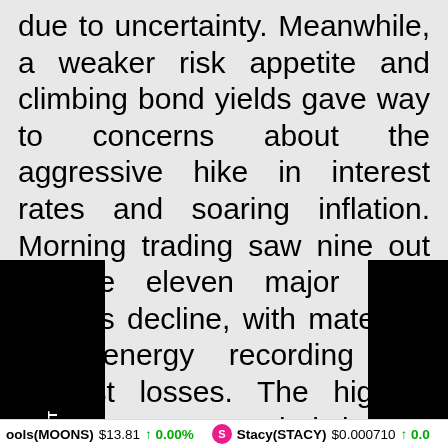due to uncertainty. Meanwhile, a weaker risk appetite and climbing bond yields gave way to concerns about the aggressive hike in interest rates and soaring inflation. Morning trading saw nine out of the eleven major S&P sectors decline, with materials and energy recording the biggest losses. The highest gains were recorded in the consumer staples sector of around 0.5%. There was a 1% fall in Amazon.com and
ools(MOONS) $13.81 ↑ 0.00%   Stacy(STACY) $0.000710 ↑ 0.0